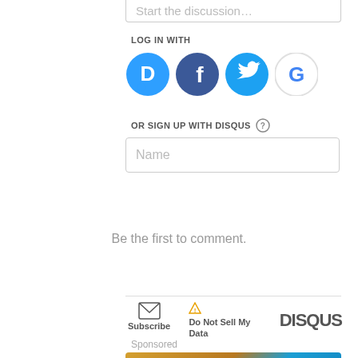[Figure (screenshot): Text input box with placeholder 'Start the discussion...']
LOG IN WITH
[Figure (infographic): Social login icons: Disqus (blue circle with D), Facebook (dark blue with f), Twitter (light blue with bird), Google (white/red with G)]
OR SIGN UP WITH DISQUS ?
[Figure (screenshot): Name text input field]
Be the first to comment.
[Figure (infographic): Footer bar with Subscribe (envelope icon), Do Not Sell My Data (triangle warning icon), and DISQUS logo]
Sponsored
[Figure (photo): Good Morning America promotional image with blue circular logo text]